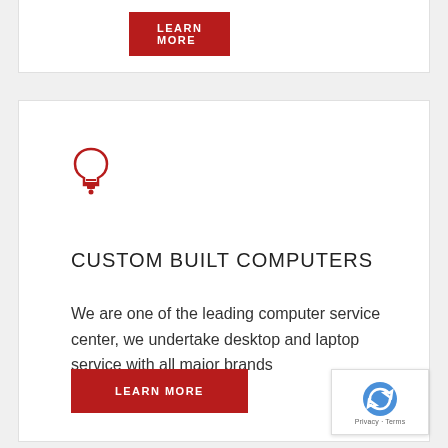[Figure (other): LEARN MORE button (red) at top of page]
[Figure (illustration): Red lightbulb icon]
CUSTOM BUILT COMPUTERS
We are one of the leading computer service center, we undertake desktop and laptop service with all major brands
[Figure (other): LEARN MORE button (red) at bottom of card]